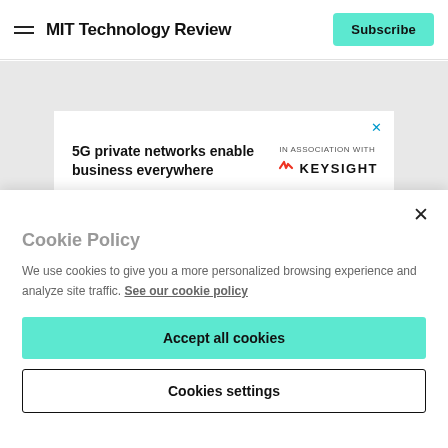MIT Technology Review
[Figure (other): Advertisement banner: '5G private networks enable business everywhere' in association with Keysight]
Cookie Policy
We use cookies to give you a more personalized browsing experience and analyze site traffic. See our cookie policy
Accept all cookies
Cookies settings